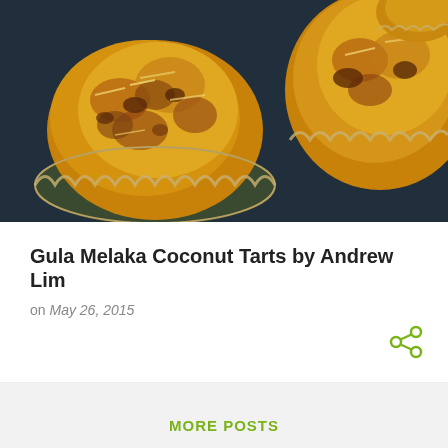[Figure (photo): Close-up photo of golden-brown coconut tarts in fluted tart shells on a dark baking tray]
Gula Melaka Coconut Tarts by Andrew Lim
on May 26, 2015
MORE POSTS
[Figure (logo): Blogger logo icon (B in rounded square) followed by 'Powered by Blogger' text in green]
Copyright of all images and recipes belong to the respective owners